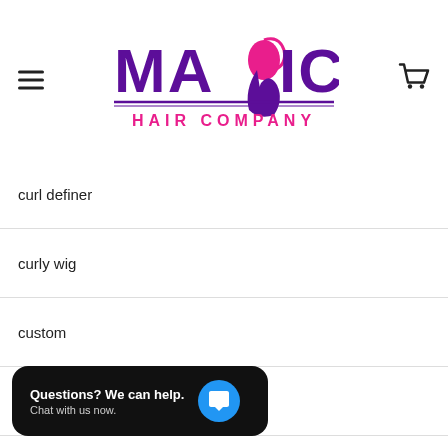[Figure (logo): Magic Hair Company logo with purple MAGIC text and pink HAIR COMPANY text, decorative hair figure in the letter G]
curl definer
curly wig
custom
custom clip-in wigs
custom wig (partially visible)
[Figure (other): Chat popup widget: Questions? We can help. Chat with us now. with blue chat bubble icon]